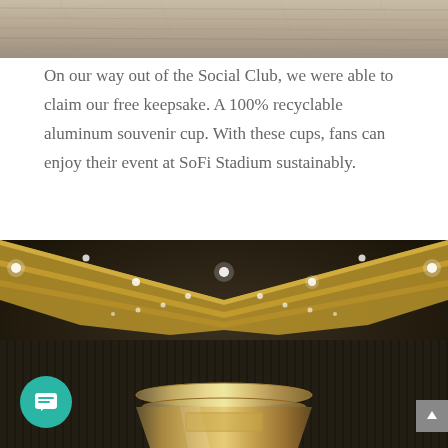[Figure (photo): Top portion of a photo showing what appears to be a ceiling or interior architectural detail with wood-like texture]
On our way out of the Social Club, we were able to claim our free keepsake. A 100% recyclable aluminum souvenir cup. With these cups, fans can enjoy their event at SoFi Stadium sustainably.
[Figure (photo): Photo of a shiny aluminum souvenir cup in the foreground with SoFi Stadium interior visible in the background, showing curved architecture with gold/yellow accents and ceiling lights]